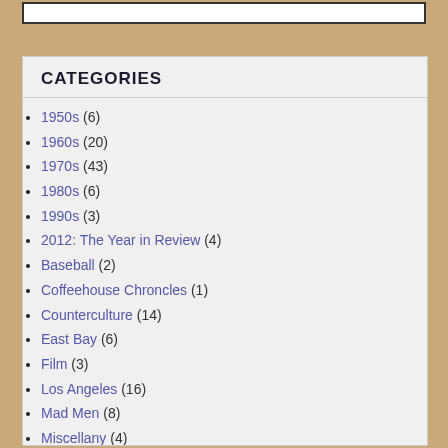CATEGORIES
1950s (6)
1960s (20)
1970s (43)
1980s (6)
1990s (3)
2012: The Year in Review (4)
Baseball (2)
Coffeehouse Chroncles (1)
Counterculture (14)
East Bay (6)
Film (3)
Los Angeles (16)
Mad Men (8)
Miscellany (4)
Music (17)